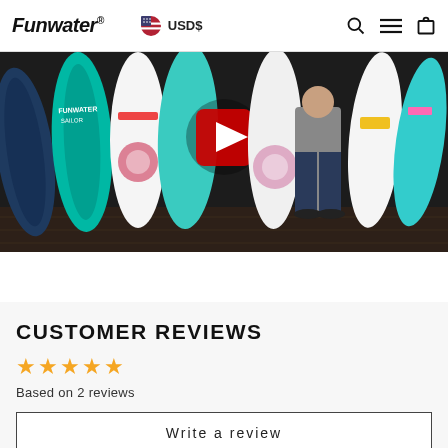Funwater® USD$
[Figure (photo): Hero image showing a man standing in front of a row of colorful inflatable paddle boards in a showroom, with a YouTube play button overlay visible]
CUSTOMER REVIEWS
Based on 2 reviews
Write a review
100%  (2)